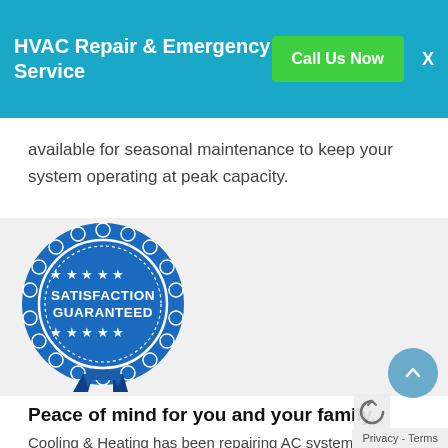HVAC Repair & Emergency Service
available for seasonal maintenance to keep your system operating at peak capacity.
[Figure (illustration): Blue circular badge/seal with text SATISFACTION GUARANTEED, stars, and ribbon at bottom]
Peace of mind for you and your family.
Cooling & Heating has been repairing AC systems for more than 10 years. We want you to be cool and comfortable, and
Privacy - Terms